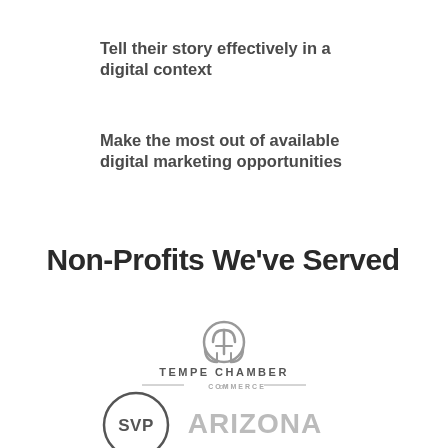Tell their story effectively in a digital context
Make the most out of available digital marketing opportunities
Non-Profits We've Served
[Figure (logo): Tempe Chamber of Commerce logo — stylized helmet icon above text TEMPE CHAMBER of COMMERCE]
[Figure (logo): SVP Arizona logo — SVP in circle badge next to ARIZONA text]